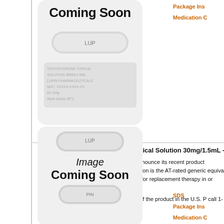[Figure (photo): Pill/capsule image placeholder with 'Coming Soon' text on gray rounded rectangle background]
Package Ins
Medication C
Lupin Launches Testosterone Topical Solution 30mg/1.5mL - A
Lupin Pharmaceuticals, Inc. is proud to announce its recent product launch. Lupin's Testosterone Topical Solution is the AT-rated generic equivalent. Testosterone Topical Solution is indicated for replacement therapy in or absence of endogenous testosterone.
Lupin has already commenced shipment of the product in the U.S. Please call 1-866-587-4617 for ordering information.
[Figure (photo): Pill/capsule image placeholder with 'Image Coming Soon' text on gray rounded rectangle background]
SDS
Package Ins
Medication C